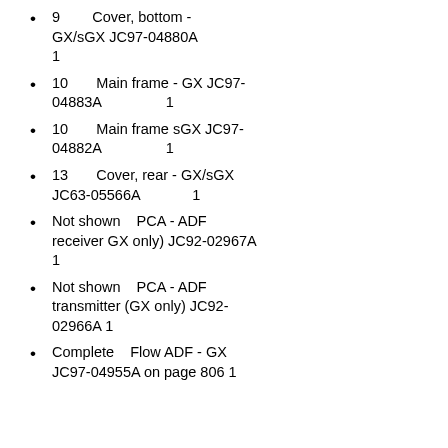9    Cover, bottom - GX/sGX JC97-04880A    1
10    Main frame - GX JC97-04883A    1
10    Main frame sGX JC97-04882A    1
13    Cover, rear - GX/sGX JC63-05566A    1
Not shown    PCA - ADF receiver GX only) JC92-02967A    1
Not shown    PCA - ADF transmitter (GX only) JC92-02966A 1
Complete    Flow ADF - GX JC97-04955A on page 806 1